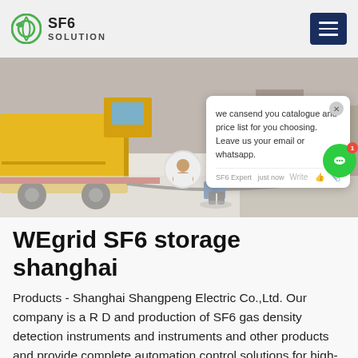SF6 SOLUTION
[Figure (photo): Outdoor industrial scene in winter/snow: yellow service truck on left, worker in blue jacket pulling a cable/hose, snowy ground, other workers visible in background.]
we cansend you catalogue and price list for you choosing. Leave us your email or whatsapp.
WEgrid SF6 storage shanghai
Products - Shanghai Shangpeng Electric Co.,Ltd. Our company is a R D and production of SF6 gas density detection instruments and instruments and other products and provide complete automation control solutions for high-tech enterprises. The